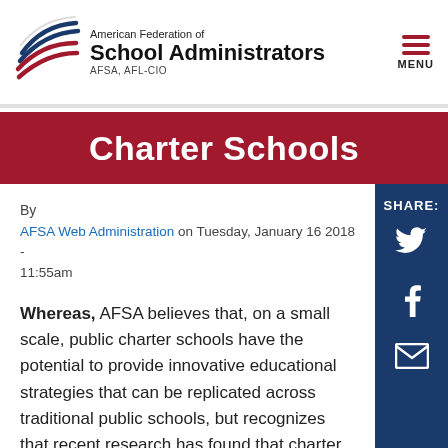American Federation of School Administrators AFSA, AFL-CIO
Charter Schools
By
AFSA Web Administration on Tuesday, January 16 2018 - 11:55am
Whereas, AFSA believes that, on a small scale, public charter schools have the potential to provide innovative educational strategies that can be replicated across traditional public schools, but recognizes that recent research has found that charter schools' effectiveness has proven to be mixed at best; and
Whereas, AFSA believes it of paramount